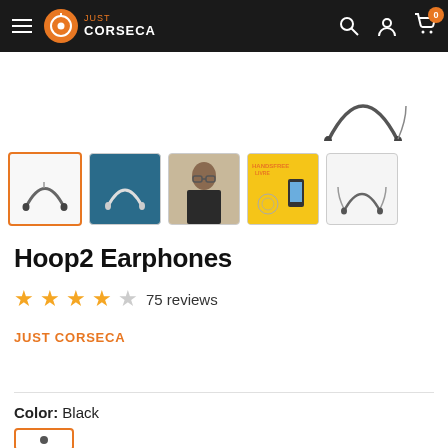Just Corseca — Navigation bar with hamburger menu, logo, search, account, and cart (0 items)
[Figure (photo): Partial view of Hoop2 Earphones product image — neckband earphones shown from above on white background]
[Figure (photo): Five product thumbnail images: 1) Hoop2 earphones on white (selected, orange border), 2) earphones on teal background, 3) woman wearing earphones, 4) yellow promotional graphic with earphones and phone, 5) earphones neckband on white]
Hoop2 Earphones
4.5 stars — 75 reviews
JUST CORSECA
Color:  Black